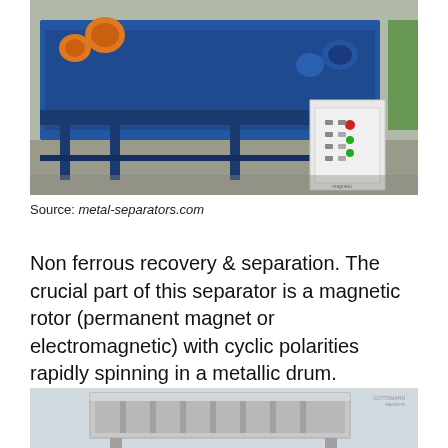[Figure (photo): Large industrial blue metal non-ferrous separator/eddy current separator machine with orange vibrating motors, conveyor belt, and white electrical control panel, in a factory setting.]
Source: metal-separators.com
Non ferrous recovery & separation. The crucial part of this separator is a magnetic rotor (permanent magnet or electromagnetic) with cyclic polarities rapidly spinning in a metallic drum.
[Figure (photo): Gray/silver industrial vibrating or separation equipment with rectangular frame structure, partially visible at bottom of page, with watermark logo in top right corner.]